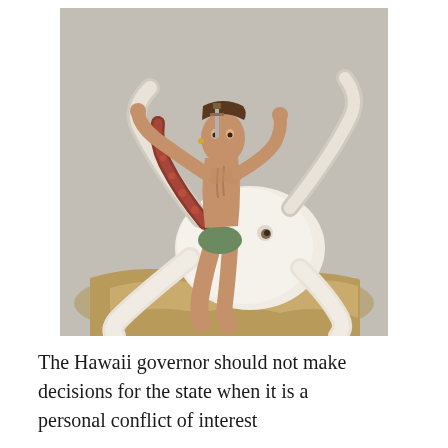[Figure (photo): A sculpture or artistic figure of a muscular human-like figure wrestling or grappling with a large white octopus on a rocky base. The human figure is grasping the octopus's tentacles. The octopus is pale/cream white with visible suckers on some tentacles. The base appears to be rocky terrain.]
The Hawaii governor should not make decisions for the state when it is a personal conflict of interest